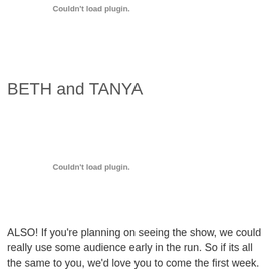Couldn't load plugin.
BETH and TANYA
Couldn't load plugin.
ALSO! If you're planning on seeing the show, we could really use some audience early in the run. So if its all the same to you, we'd love you to come the first week.